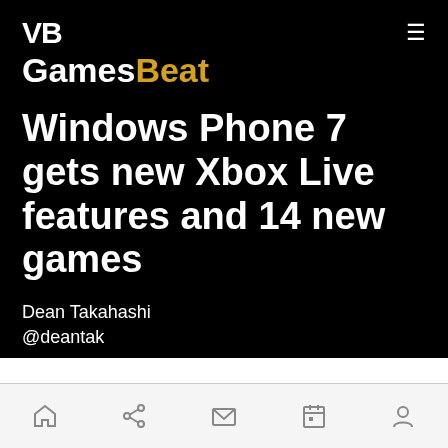VB GamesBeat
Windows Phone 7 gets new Xbox Live features and 14 new games
Dean Takahashi
@deantak
August 16, 2011 7:14 PM